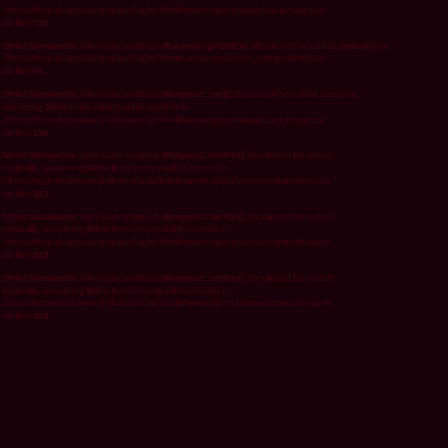/chroot/home/transvan/pinkvanilla.hu/html/libraries/joomla/application/applica on line 721
Strict Standards: Non-static method JFactory::getDBO() should not be called statically in /chroot/home/transvan/pinkvanilla.hu/html/components/com_comprofiler/rout on line 96
Strict Standards: Non-static method JRequest::set() should not be called statically, assuming $this from incompatible context in /chroot/home/transvan/pinkvanilla.hu/html/libraries/joomla/application/applica on line 199
Strict Standards: Non-static method JRequest::setVar() should not be called statically, assuming $this from incompatible context in /chroot/home/transvan/pinkvanilla.hu/html/libraries/joomla/environment/reques on line 422
Strict Standards: Non-static method JRequest::setVar() should not be called statically, assuming $this from incompatible context in /chroot/home/transvan/pinkvanilla.hu/html/libraries/joomla/environment/reques on line 423
Strict Standards: Non-static method JRequest::setVar() should not be called statically, assuming $this from incompatible context in /chroot/home/transvan/pinkvanilla.hu/html/libraries/joomla/environment/reques on line 423